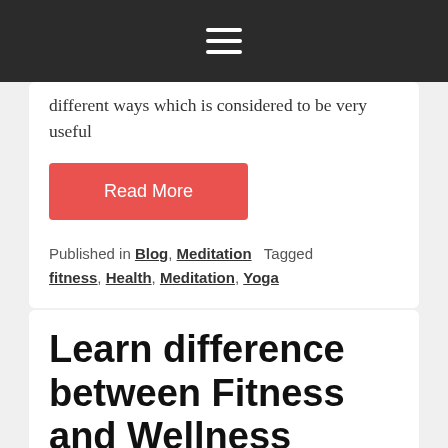☰
different ways which is considered to be very useful
Read More
Published in Blog, Meditation  Tagged fitness, Health, Meditation, Yoga
Learn difference between Fitness and Wellness